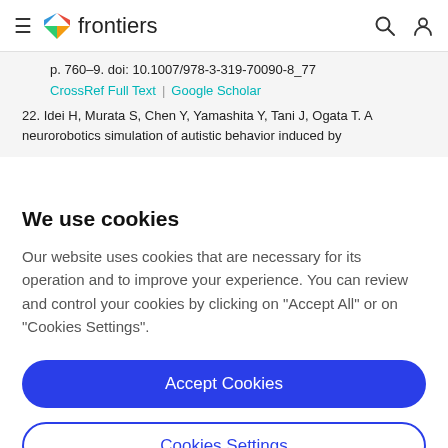frontiers
p. 760–9. doi: 10.1007/978-3-319-70090-8_77
CrossRef Full Text | Google Scholar
22. Idei H, Murata S, Chen Y, Yamashita Y, Tani J, Ogata T. A neurorobotics simulation of autistic behavior induced by
We use cookies
Our website uses cookies that are necessary for its operation and to improve your experience. You can review and control your cookies by clicking on "Accept All" or on "Cookies Settings".
Accept Cookies
Cookies Settings